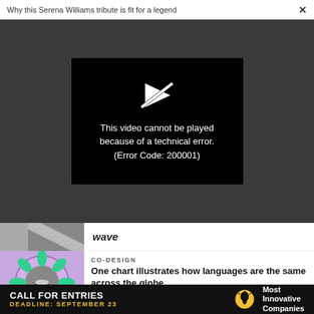Why this Serena Williams tribute is fit for a legend ×
[Figure (screenshot): Video player error screen on dark grey background. Black box with a crossed-out play icon and white text: 'This video cannot be played because of a technical error. (Error Code: 200001)']
wave
CO-DESIGN
One chart illustrates how languages are the same across the globe
[Figure (photo): Circular decorative image with green bean/pod shapes arranged in a ring on a purple/pink background with a central grey circle containing a lip/mouth illustration]
[Figure (screenshot): Black advertisement banner: CALL FOR ENTRIES, DEADLINE: SEPTEMBER 23, lightbulb icon, Most Innovative Companies]